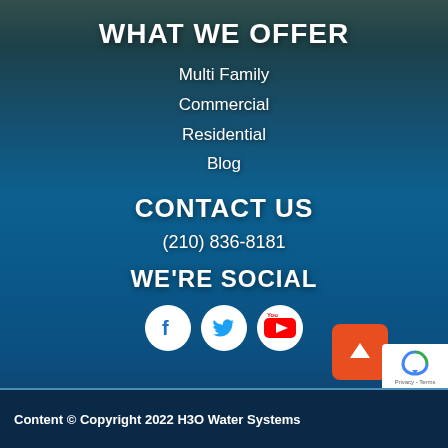WHAT WE OFFER
Multi Family
Commercial
Residential
Blog
CONTACT US
(210) 836-8181
WE'RE SOCIAL
[Figure (infographic): Three social media icons: Facebook, Twitter, YouTube — white circles on dark background]
Content © Copyright 2022 H3O Water Systems